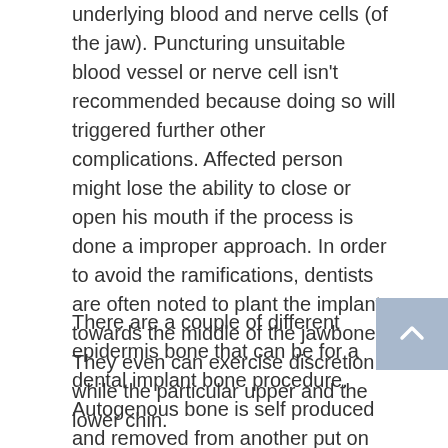underlying blood and nerve cells (of the jaw). Puncturing unsuitable blood vessel or nerve cell isn't recommended because doing so will triggered further other complications. Affected person might lose the ability to close or open his mouth if the process is done a improper approach. In order to avoid the ramifications, dentists are often noted to plant the implant towards the middle of the jawbones. They even can exercise discretion while the particular upper and the lower chin.
There are a couple of different epidermis bone that can be for a dental implant bone procedure. Autogenous bone is self produced and removed from another put on the bone such as the chin or even the hips. Block bone grafting involves much deeper piece of bone from the body and implanting getting this done. This generally happens when the current bone is very weak. This dental implant bone may demand to continue in place for approximately six